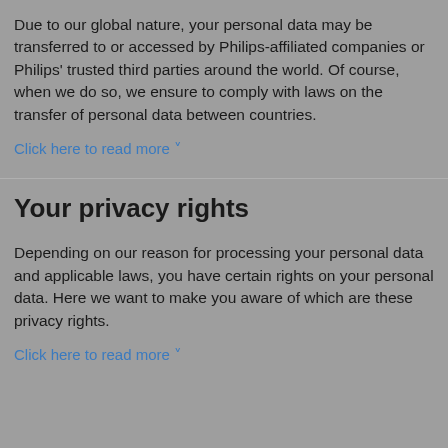Due to our global nature, your personal data may be transferred to or accessed by Philips-affiliated companies or Philips' trusted third parties around the world. Of course, when we do so, we ensure to comply with laws on the transfer of personal data between countries.
Click here to read more ˅
Your privacy rights
Depending on our reason for processing your personal data and applicable laws, you have certain rights on your personal data. Here we want to make you aware of which are these privacy rights.
Click here to read more ˅